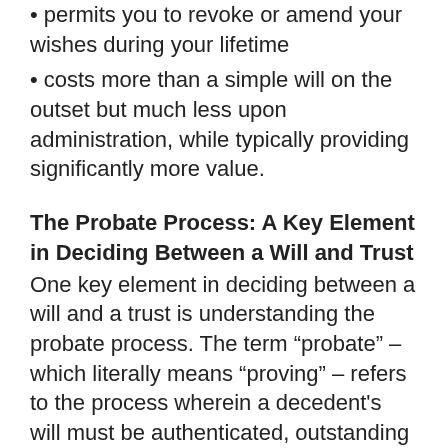permits you to revoke or amend your wishes during your lifetime
costs more than a simple will on the outset but much less upon administration, while typically providing significantly more value.
The Probate Process: A Key Element in Deciding Between a Will and Trust
One key element in deciding between a will and a trust is understanding the probate process. The term “probate” – which literally means “proving” – refers to the process wherein a decedent's will must be authenticated, outstanding legitimate debts paid, and assets transferred to the beneficiaries. The downside is that probate can take a long time - even years - it’s expensive in many places and the entire process is completely public, meaning your nosey neighbor Nancy and evil predator Paul both know exactly who got what and how to contact them. In